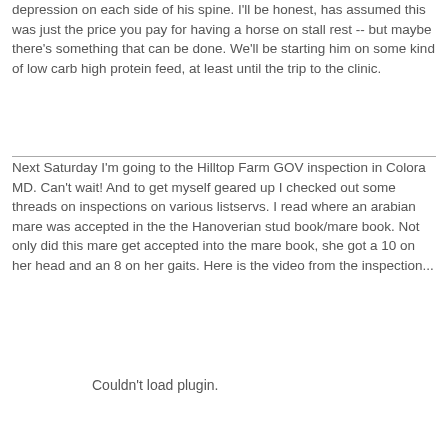depression on each side of his spine. I'll be honest, has assumed this was just the price you pay for having a horse on stall rest -- but maybe there's something that can be done. We'll be starting him on some kind of low carb high protein feed, at least until the trip to the clinic.
Next Saturday I'm going to the Hilltop Farm GOV inspection in Colora MD. Can't wait! And to get myself geared up I checked out some threads on inspections on various listservs. I read where an arabian mare was accepted in the the Hanoverian stud book/mare book. Not only did this mare get accepted into the mare book, she got a 10 on her head and an 8 on her gaits. Here is the video from the inspection...
Couldn't load plugin.